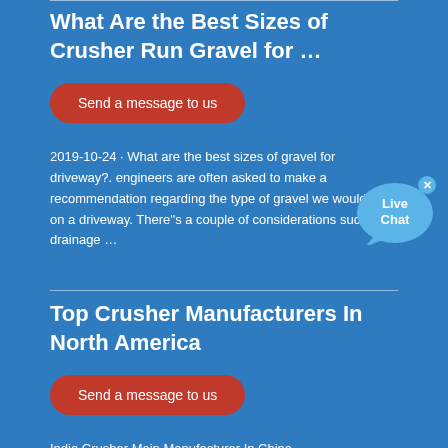What Are the Best Sizes of Crusher Run Gravel for …
Send a message to us
2019-10-24 · What are the best sizes of gravel for driveway?. engineers are often asked to make a recommendation regarding the type of gravel we would use on a driveway. There''s a couple of considerations such as a drainage …
[Figure (other): Live Chat bubble widget with close button]
Top Crusher Manufacturers In North America
Send a message to us
India Crusher Main Manufacturer In China.